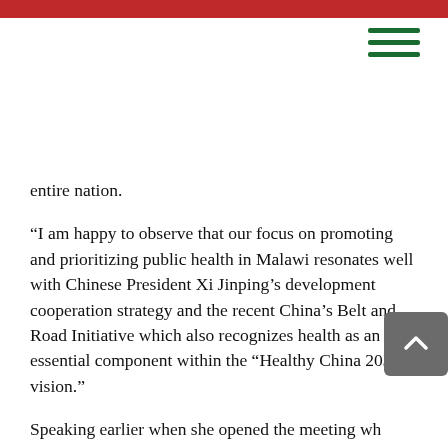entire nation.
“I am happy to observe that our focus on promoting and prioritizing public health in Malawi resonates well with Chinese President Xi Jinping’s development cooperation strategy and the recent China’s Belt and Road Initiative which also recognizes health as an essential component within the “Healthy China 2030” vision.”
Speaking earlier when she opened the meeting wh… theme was: ‘China and Africa: Join Hands for a Fu… Free of AIDS’, China’s First Lady, Peng Liyuan said combating HIV and AIDS is a global priority and that China and Africa have developed a productive cooperation in that battle. “We have old friends and new partners gathered here because we have a shared goal- “Join hand in hand